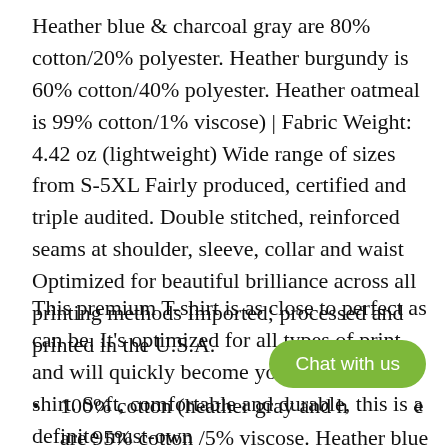Heather blue & charcoal gray are 80% cotton/20% polyester. Heather burgundy is 60% cotton/40% polyester. Heather oatmeal is 99% cotton/1% viscose) | Fabric Weight: 4.42 oz (lightweight) Wide range of sizes from S-5XL Fairly produced, certified and triple audited. Double stitched, reinforced seams at shoulder, sleeve, collar and waist Optimized for beautiful brilliance across all printing methods Imported; processed and printed in the U.S.A.
This premium T-shirt is as close to perfect as can be. It's optimized for all types of print and will quickly become your favorite T-shirt. Soft, comfortable and durable, this is a definite must-own
100% cotton (heather gray and h... are 95% cotton /5% viscose. Heather blue &